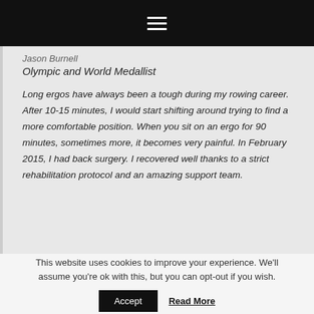[Figure (other): Black navigation bar with hamburger menu icon (three white horizontal lines)]
Jason Burnell
Olympic and World Medallist
Long ergos have always been a tough during my rowing career. After 10-15 minutes, I would start shifting around trying to find a more comfortable position. When you sit on an ergo for 90 minutes, sometimes more, it becomes very painful. In February 2015, I had back surgery. I recovered well thanks to a strict rehabilitation protocol and an amazing support team.
This website uses cookies to improve your experience. We'll assume you're ok with this, but you can opt-out if you wish.
Accept
Read More